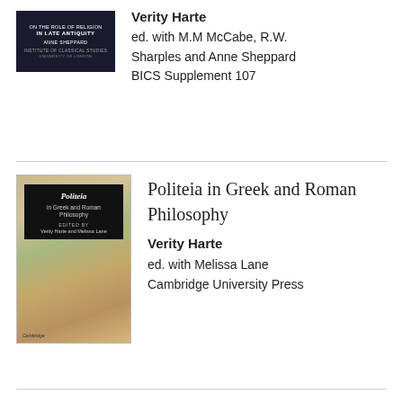[Figure (illustration): Book cover of a dark-colored academic book, partial view showing text lines]
Verity Harte
ed. with M.M McCabe, R.W. Sharples and Anne Sheppard
BICS Supplement 107
[Figure (illustration): Book cover of 'Politeia in Greek and Roman Philosophy' edited by Verity Harte and Melissa Lane, Cambridge University Press, with a map background]
Politeia in Greek and Roman Philosophy
Verity Harte
ed. with Melissa Lane
Cambridge University Press